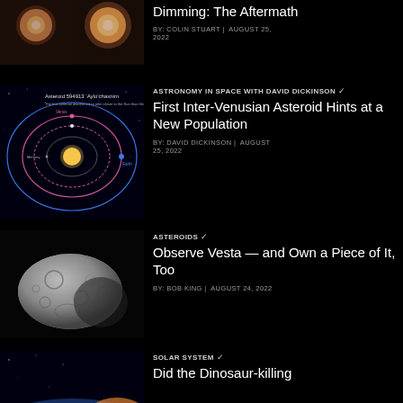[Figure (photo): Two side-by-side astronomical images showing a bright star/sun with orange-red coloring, before and after comparison]
Dimming: The Aftermath
BY: COLIN STUART | AUGUST 25, 2022
[Figure (illustration): Diagram of Asteroid 594913 Aylo'chaxnim orbit path around the Sun, with concentric elliptical orbits shown in blue and pink on black background]
ASTRONOMY IN SPACE WITH DAVID DICKINSON
First Inter-Venusian Asteroid Hints at a New Population
BY: DAVID DICKINSON | AUGUST 25, 2022
[Figure (photo): Grayscale image of asteroid Vesta showing cratered rocky surface]
ASTEROIDS
Observe Vesta — and Own a Piece of It, Too
BY: BOB KING | AUGUST 24, 2022
[Figure (photo): Partial view of Earth from space showing atmosphere glow at horizon with dark sky above]
SOLAR SYSTEM
Did the Dinosaur-killing